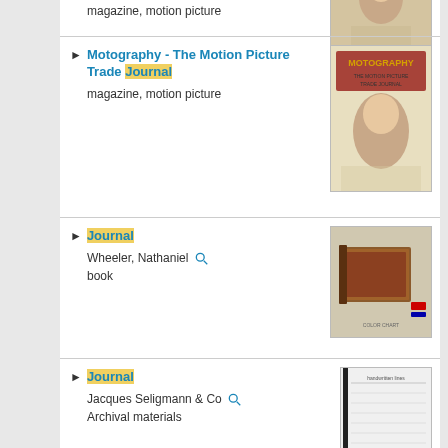magazine, motion picture
Motography - The Motion Picture Trade Journal
magazine, motion picture
Journal
Wheeler, Nathaniel
book
Journal
Jacques Seligmann & Co
Archival materials
Journal
Jacques Seligmann & Co